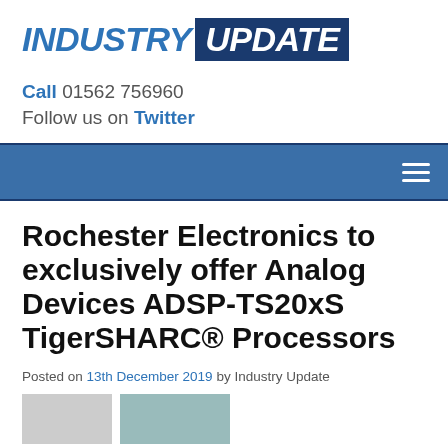INDUSTRY UPDATE
Call 01562 756960
Follow us on Twitter
Rochester Electronics to exclusively offer Analog Devices ADSP-TS20xS TigerSHARC® Processors
Posted on 13th December 2019 by Industry Update
[Figure (photo): Two thumbnail images at the bottom of the page]